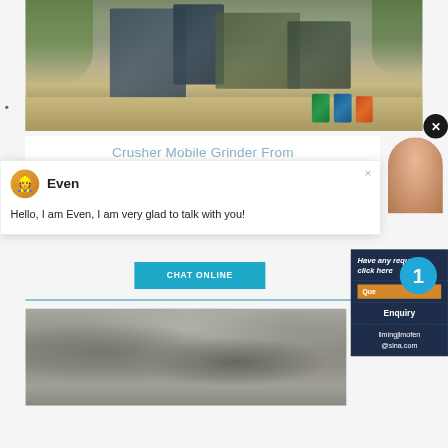[Figure (photo): Industrial crusher/mobile grinder machinery at a mining site with green and blue barrels in the background]
Crusher Mobile Grinder From Malaysia- Brighton Min
[Figure (screenshot): Chat popup with avatar of 'Even', showing message: Hello, I am Even, I am very glad to talk with you!]
Even
Hello, I am Even, I am very glad to talk with you!
CHAT ONLINE
Have any requests, click here
1
Enquiry
limingjlmofen@sina.com
[Figure (photo): Close-up photo of crushed stone or gravel material]